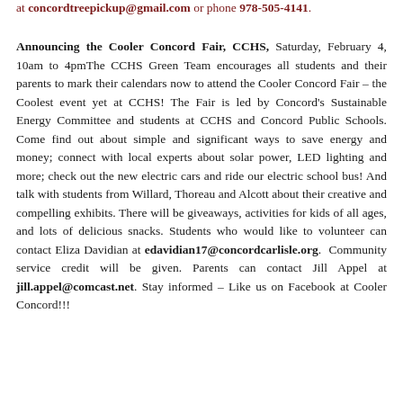at concordtreepickup@gmail.com or phone 978-505-4141.
Announcing the Cooler Concord Fair, CCHS, Saturday, February 4, 10am to 4pmThe CCHS Green Team encourages all students and their parents to mark their calendars now to attend the Cooler Concord Fair – the Coolest event yet at CCHS! The Fair is led by Concord's Sustainable Energy Committee and students at CCHS and Concord Public Schools. Come find out about simple and significant ways to save energy and money; connect with local experts about solar power, LED lighting and more; check out the new electric cars and ride our electric school bus! And talk with students from Willard, Thoreau and Alcott about their creative and compelling exhibits. There will be giveaways, activities for kids of all ages, and lots of delicious snacks. Students who would like to volunteer can contact Eliza Davidian at edavidian17@concordcarlisle.org.  Community service credit will be given. Parents can contact Jill Appel at jill.appel@comcast.net. Stay informed – Like us on Facebook at Cooler Concord!!!